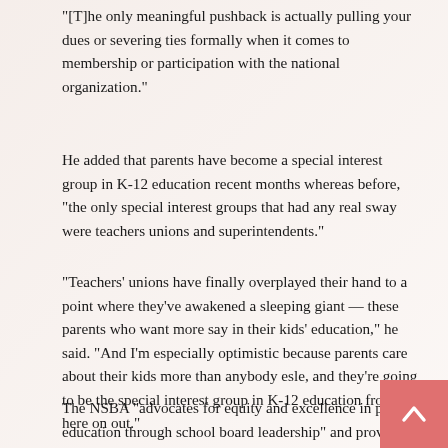“[T]he only meaningful pushback is actually pulling your dues or severing ties formally when it comes to membership or participation with the national organization.”
He added that parents have become a special interest group in K-12 education recent months whereas before, “the only special interest groups that had any real sway were teachers unions and superintendents.”
“Teachers’ unions have finally overplayed their hand to a point where they’ve awakened a sleeping giant — these parents who want more say in their kids’ education,” he said. “And I’m especially optimistic because parents care about their kids more than anybody esle, and they’re going to be the special interest group in K-12 education from here on out.”
The NSBA “advocates for equity and excellence in public education through school board leadership” and provides resources to local school boards to do so, according to